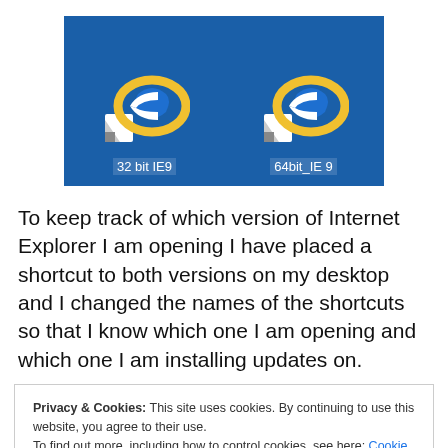[Figure (screenshot): Screenshot showing two Internet Explorer 9 desktop shortcuts on a blue background: '32 bit IE9' and '64bit_IE 9']
To keep track of which version of Internet Explorer I am opening I have placed a shortcut to both versions on my desktop and I changed the names of the shortcuts so that I know which one I am opening and which one I am installing updates on.
Privacy & Cookies: This site uses cookies. By continuing to use this website, you agree to their use.
To find out more, including how to control cookies, see here: Cookie Policy
[Close and accept]
32 bit version, and the 64 bit version is not marked. See